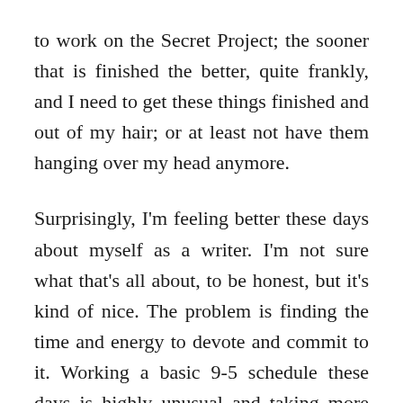to work on the Secret Project; the sooner that is finished the better, quite frankly, and I need to get these things finished and out of my hair; or at least not have them hanging over my head anymore.
Surprisingly, I'm feeling better these days about myself as a writer. I'm not sure what that's all about, to be honest, but it's kind of nice. The problem is finding the time and energy to devote and commit to it. Working a basic 9-5 schedule these days is highly unusual and taking more than a little while for me to get used to, if I am being